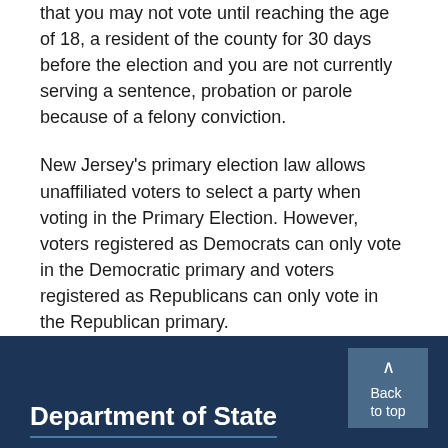that you may not vote until reaching the age of 18, a resident of the county for 30 days before the election and you are not currently serving a sentence, probation or parole because of a felony conviction.
New Jersey's primary election law allows unaffiliated voters to select a party when voting in the Primary Election. However, voters registered as Democrats can only vote in the Democratic primary and voters registered as Republicans can only vote in the Republican primary.
Department of State